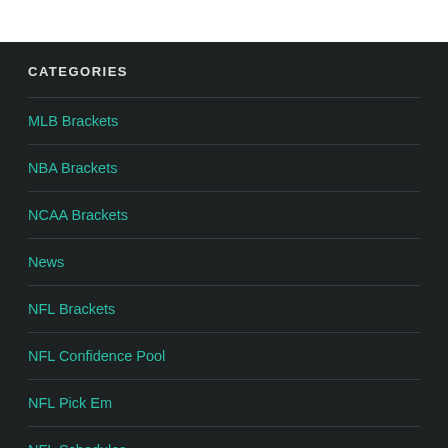CATEGORIES
MLB Brackets
NBA Brackets
NCAA Brackets
News
NFL Brackets
NFL Confidence Pool
NFL Pick Em
NFL Schedules